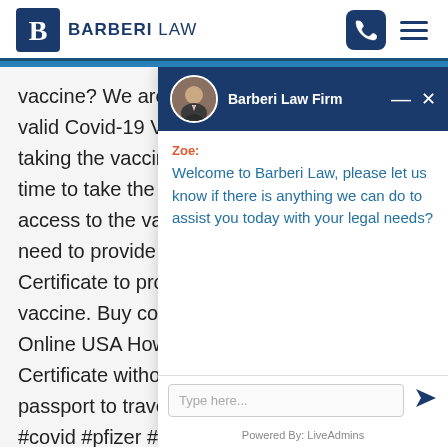[Figure (logo): Barberi Law firm logo with 'B' monogram in dark blue square and text 'BARBERI LAW']
vaccine? We are valid Covid-19 Va taking the vaccin time to take the v access to the vac need to provide a Certificate to pro vaccine. Buy cov Online USA How Certificate witho passport to trave #covid #pfizer #v
[Figure (screenshot): Live chat widget overlay from Barberi Law Firm showing chat assistant 'Zoe' with welcome message]
Zoe:
Welcome to Barberi Law, please let us know if there is anything we can do to assist you today with your legal needs?